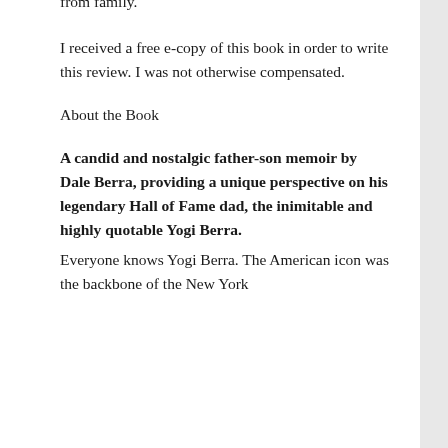from family.
I received a free e-copy of this book in order to write this review. I was not otherwise compensated.
About the Book
A candid and nostalgic father-son memoir by Dale Berra, providing a unique perspective on his legendary Hall of Fame dad, the inimitable and highly quotable Yogi Berra.
Everyone knows Yogi Berra. The American icon was the backbone of the New York